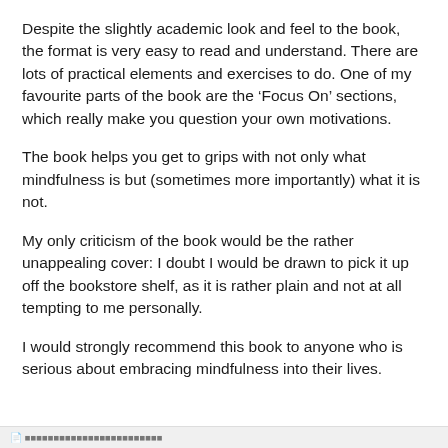Despite the slightly academic look and feel to the book, the format is very easy to read and understand. There are lots of practical elements and exercises to do. One of my favourite parts of the book are the ‘Focus On’ sections, which really make you question your own motivations.
The book helps you get to grips with not only what mindfulness is but (sometimes more importantly) what it is not.
My only criticism of the book would be the rather unappealing cover: I doubt I would be drawn to pick it up off the bookstore shelf, as it is rather plain and not at all tempting to me personally.
I would strongly recommend this book to anyone who is serious about embracing mindfulness into their lives.